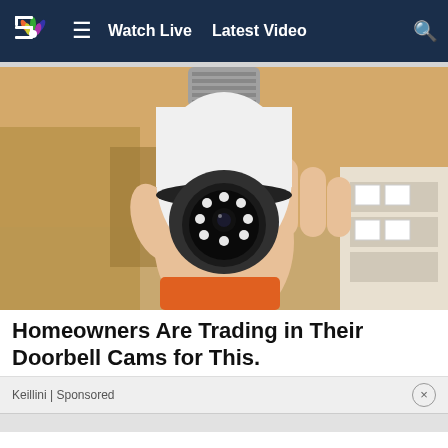Watch Live   Latest Video
[Figure (photo): Hand holding a white lightbulb-shaped security camera with LED ring, against a cardboard box background]
Homeowners Are Trading in Their Doorbell Cams for This.
Keillini | Sponsored